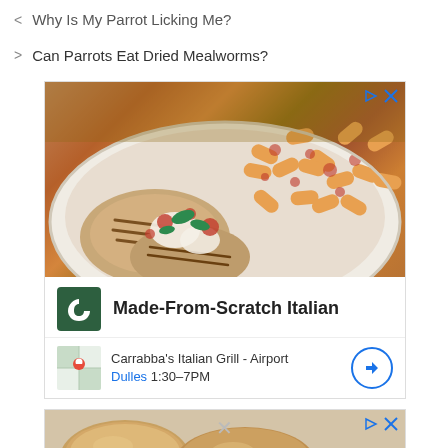< Why Is My Parrot Licking Me?
> Can Parrots Eat Dried Mealworms?
[Figure (photo): Advertisement for Carrabba's Italian Grill showing a plate of grilled chicken with pasta in tomato sauce. Includes restaurant logo, name 'Made-From-Scratch Italian', location 'Carrabba's Italian Grill - Airport', 'Dulles 1:30-7PM'.]
[Figure (photo): Second advertisement banner showing a partial image of bread rolls on a surface.]